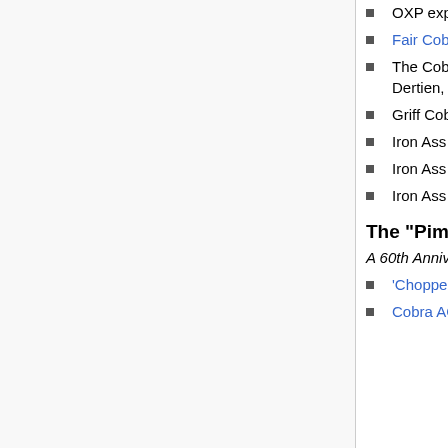OXP exploring the use of shaders in early Oolite
Fair Cobra III gives a player a cobra equivalent to that of the NPCs (by Cim, 2012)
The Cobra Mk.III from ZGrOovy HPC Pack, with retractable landing gear, laser bay doors, etc. (by Dertien, 2014)
Griff Cobra Mk.I and Mk.III, the ships as they appear in the shipsets of Griff Industries
Iron Ass Cobra Mk.I and Mk.III, as they appear in Iron Ass Vol.1
Iron Ass Cobra Mk.II-X, as it appears in Iron Ass Vol.3
Iron Ass Cobra Cutter SAR, as it appears in Iron Ass Vol.4
The "Pimp my Cobra" competition
A 60th Anniversary event
'Chopped Cobra' by Aegidian Shipyards
Cobra AC (Advanced Classic/Dark Wheel Cobra) by CSEC (Cobra Space